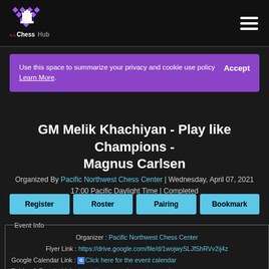[Figure (logo): N.A. ChessHub logo with chess pieces and diamond shapes on dark background]
Use this space to summarize your privacy and cookie use policy Accept Learn More.
GM Melik Khachiyan - Play like Champions - Magnus Carlsen
Organized By Pacific Northwest Chess Center | Wednesday, April 07, 2021 17:00 Pacific Daylight Time | Completed
Register
Roster
Pairing
Bookmark
Event Info
Organizer : Pacific Northwest Chess Center
Flyer Link : https://drive.google.com/file/d/1wojwySLJfShRVv2ij4z
Google Calendar Link : Click here for the event calendar
Pairing & Results Link : https://www.pnwchesscenter.org/
Event Address : Online,Online,WA 98034